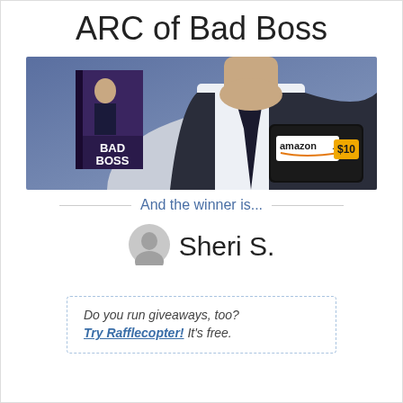ARC of Bad Boss
[Figure (photo): Promotional banner image showing a man in a suit with a dark tie, a book cover for 'Bad Boss', and an Amazon.com $10 gift card, on a blue-grey background.]
And the winner is...
[Figure (illustration): Grey user avatar icon (circular silhouette of a person's head and shoulders)]
Sheri S.
Do you run giveaways, too? Try Rafflecopter! It's free.